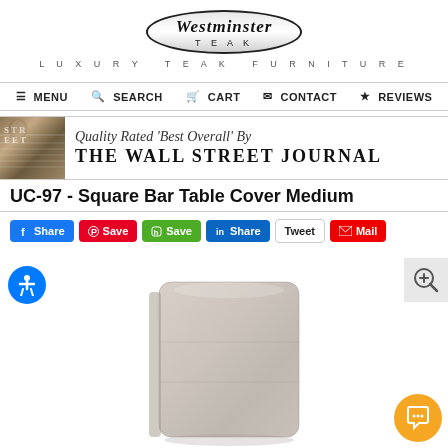[Figure (logo): Westminster Teak logo with oval border and 'Luxury Teak Furniture' tagline]
≡ MENU  🔍 SEARCH  🛒 CART  ✉ CONTACT  ★ REVIEWS
[Figure (photo): Wall Street Journal newspaper banner with text: Quality Rated 'Best Overall' By THE WALL STREET JOURNAL]
UC-97 - Square Bar Table Cover Medium
Share | Save | Save | Share | Tweet | Mail (social sharing buttons)
[Figure (photo): Product photo of a square bar table cover in taupe/gray fabric, rounded top corners, shown on white background]